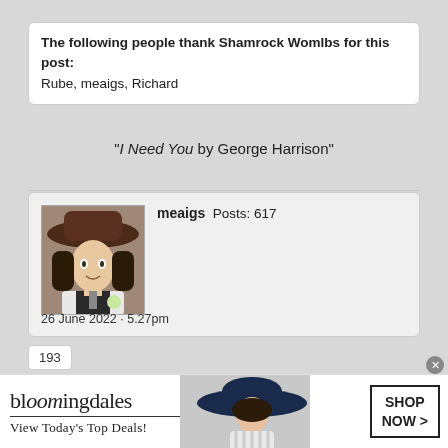The following people thank Shamrock Womlbs for this post: Rube, meaigs, Richard
"I Need You by George Harrison"
meaigs  Posts: 617
26 June 2022 - 5.27pm
[Figure (photo): Avatar photo of a person wearing a pirate-style hat]
193
[Figure (infographic): Bloomingdale's advertisement banner: 'View Today's Top Deals!' with SHOP NOW > button and woman in wide-brim hat]